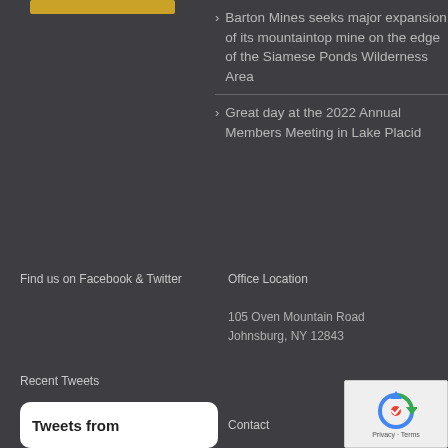[Figure (other): Gold/yellow button bar at top left]
Barton Mines seeks major expansion of its mountaintop mine on the edge of the Siamese Ponds Wilderness Area
Great day at the 2022 Annual Members Meeting in Lake Placid
Find us on Facebook & Twitter
Office Location
105 Oven Mountain Road
Johnsburg, NY 12843
Recent Tweets
[Figure (screenshot): Tweets from - white rounded box]
Contact
[Figure (other): reCAPTCHA widget showing circular arrows icon and Privacy - Terms text]